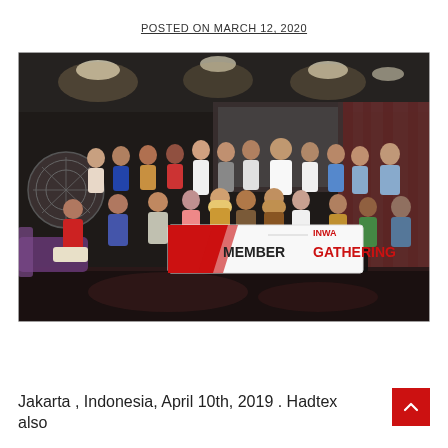POSTED ON MARCH 12, 2020
[Figure (photo): Group photo of approximately 25 people posed in a dark lounge venue in Jakarta, Indonesia. They are holding a white banner reading 'MEMBER GATHERING' with an INWA logo. The event took place on April 10th, 2019.]
Jakarta , Indonesia, April 10th, 2019 . Hadtex also